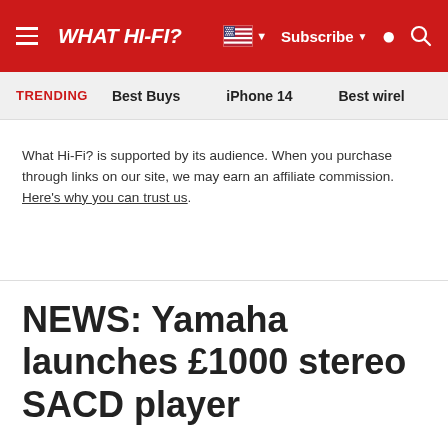WHAT HI-FI?
TRENDING  Best Buys  iPhone 14  Best wirel
What Hi-Fi? is supported by its audience. When you purchase through links on our site, we may earn an affiliate commission. Here's why you can trust us.
NEWS: Yamaha launches £1000 stereo SACD player